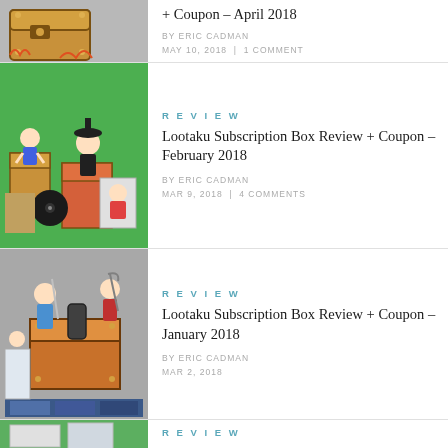[Figure (photo): Partial view of a treasure chest box product, brown/golden colored, on grey background]
+ Coupon – April 2018
BY ERIC CADMAN
MAY 10, 2018  |  1 COMMENT
[Figure (photo): Anime figurines including chibi characters and boxes arranged on a green background]
REVIEW
Lootaku Subscription Box Review + Coupon – February 2018
BY ERIC CADMAN
MAR 9, 2018  |  4 COMMENTS
[Figure (photo): Anime figurines and decorated boxes arranged on a grey background]
REVIEW
Lootaku Subscription Box Review + Coupon – January 2018
BY ERIC CADMAN
MAR 2, 2018
[Figure (photo): Partial view of anime product boxes on a green background]
REVIEW